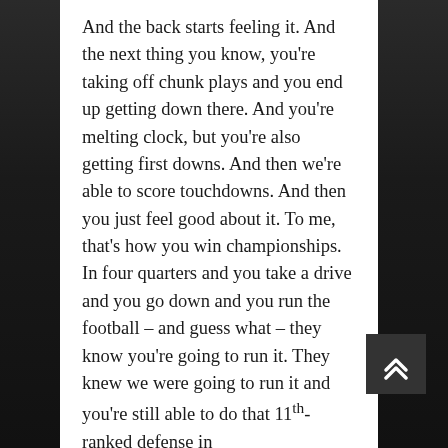And the back starts feeling it. And the next thing you know, you're taking off chunk plays and you end up getting down there. And you're melting clock, but you're also getting first downs. And then we're able to score touchdowns. And then you just feel good about it. To me, that's how you win championships. In four quarters and you take a drive and you go down and you run the football – and guess what – they know you're going to run it. They knew we were going to run it and you're still able to do that 11th-ranked defense in